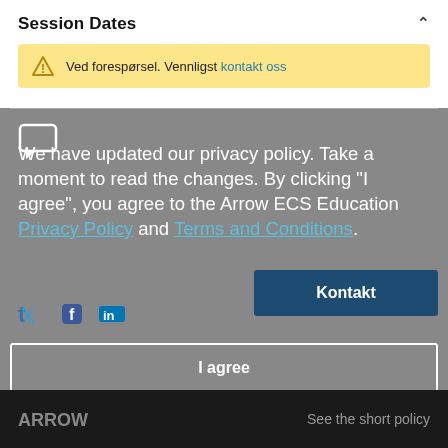Session Dates
Ved forespørsel. Vennligst kontakt oss
We have updated our privacy policy. Take a moment to read the changes. By clicking "I agree", you agree to the Arrow ECS Education Privacy Policy and Terms and Conditions.
I agree
See the short policy